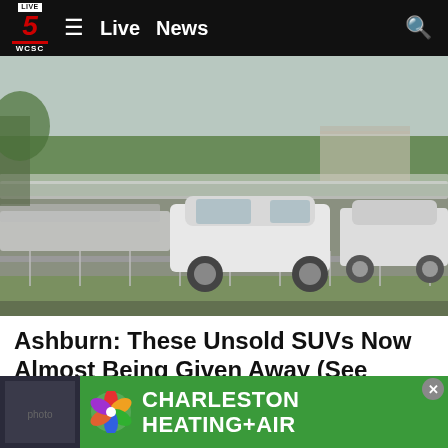Live 5 WCSC — Live News
[Figure (photo): Large lot filled with rows of white SUVs/vehicles in an outdoor storage or staging lot, overcast sky, chain-link fence in foreground, trees and a building visible in background.]
Ashburn: These Unsold SUVs Now Almost Being Given Away (See Deals)
SUV | Sponsored Links | Sponsored
[Figure (other): Advertisement banner for Charleston Heating+Air with colorful fan/pinwheel logo on green background.]